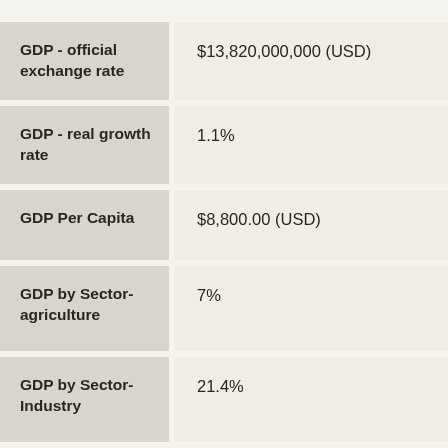| Field | Value |
| --- | --- |
| GDP - official exchange rate | $13,820,000,000 (USD) |
| GDP - real growth rate | 1.1% |
| GDP Per Capita | $8,800.00 (USD) |
| GDP by Sector-agriculture | 7% |
| GDP by Sector-Industry | 21.4% |